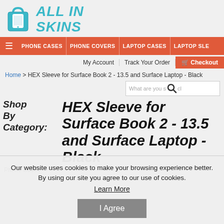[Figure (logo): All In Skins logo with shopping bag icon and teal italic text]
PHONE CASES | PHONE COVERS | LAPTOP CASES | LAPTOP SLEEVES
My Account | Track Your Order | Checkout
Home > HEX Sleeve for Surface Book 2 - 13.5 and Surface Laptop - Black
What are you searching for?
Shop By Category:
HEX Sleeve for Surface Book 2 - 13.5 and Surface Laptop - Black
Phone Cases
Our website uses cookies to make your browsing experience better. By using our site you agree to our use of cookies.
Learn More
I Agree